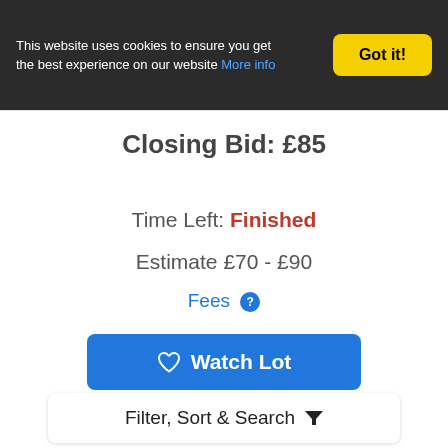This website uses cookies to ensure you get the best experience on our website More info
Got it!
Closing Bid: £85
Time Left: Finished
Estimate £70 - £90
Fees ?
Watch Lot
[Figure (photo): Red/pink gradient image area partially visible in lower section of page]
Filter, Sort & Search